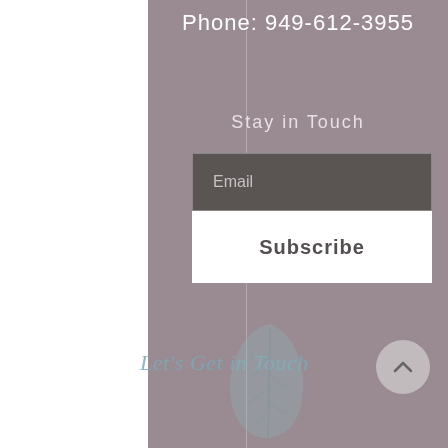Phone: 949-612-3955
Stay in Touch
Email
Subscribe
Let's Get in Touch
[Figure (illustration): A decorative leaf illustration in muted teal/sage color at the bottom of the page]
[Figure (illustration): A circular back-to-top button with an upward chevron arrow]